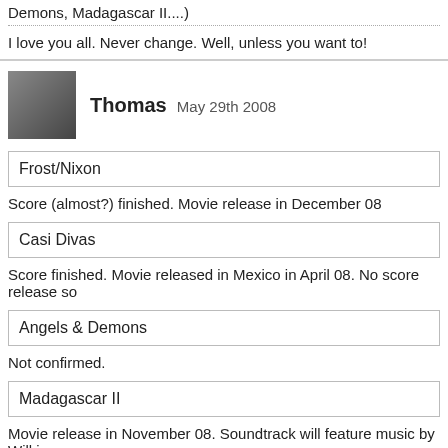Demons, Madagascar II....)
I love you all. Never change. Well, unless you want to!
Thomas May 29th 2008
Frost/Nixon
Score (almost?) finished. Movie release in December 08
Casi Divas
Score finished. Movie released in Mexico in April 08. No score release so
Angels & Demons
Not confirmed.
Madagascar II
Movie release in November 08. Soundtrack will feature music by Will i am